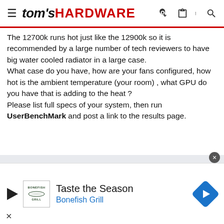tom's HARDWARE
The 12700k runs hot just like the 12900k so it is recommended by a large number of tech reviewers to have big water cooled radiator in a large case.
What case do you have, how are your fans configured, how hot is the ambient temperature (your room) , what GPU do you have that is adding to the heat ?
Please list full specs of your system, then run UserBenchMark and post a link to the results page.
[Figure (other): Advertisement banner for Bonefish Grill: Taste the Season]
Taste the Season
Bonefish Grill